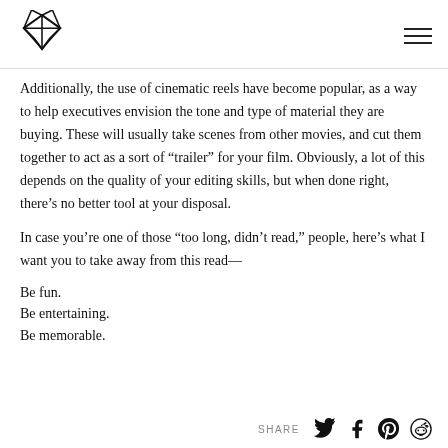[Logo] [Hamburger menu]
Additionally, the use of cinematic reels have become popular, as a way to help executives envision the tone and type of material they are buying. These will usually take scenes from other movies, and cut them together to act as a sort of “trailer” for your film. Obviously, a lot of this depends on the quality of your editing skills, but when done right, there’s no better tool at your disposal.
In case you’re one of those “too long, didn’t read,” people, here’s what I want you to take away from this read—
Be fun.
Be entertaining.
Be memorable.
SHARE [Twitter] [Facebook] [Pinterest] [Reddit]